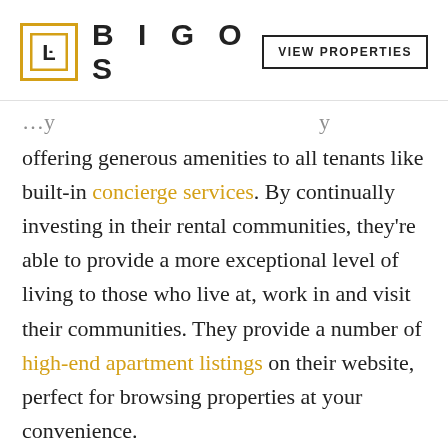BIGOS | VIEW PROPERTIES
offering generous amenities to all tenants like built-in concierge services. By continually investing in their rental communities, they're able to provide a more exceptional level of living to those who live at, work in and visit their communities. They provide a number of high-end apartment listings on their website, perfect for browsing properties at your convenience.